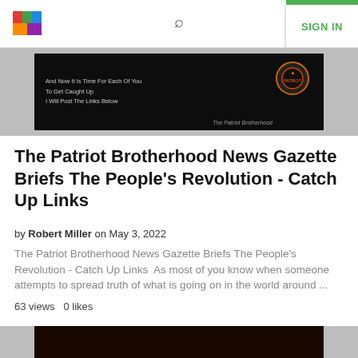SIGN IN
[Figure (photo): Dark background image with text 'And Now It Is Time For Each Of You To Get Caught Up I Will Post The Links Below' and 'The Patriot Brotherhood' branding with an emblem on the right.]
The Patriot Brotherhood News Gazette Briefs The People's Revolution - Catch Up Links
by Robert Miller on May 3, 2022
The Patriot Brotherhood News Gazette Briefs The People's Revolution - Catch Up Links  As most of you know when someone attempts to spread truth of what is going on in the world around ...
63 views   0 likes
[Figure (photo): Night cityscape showing a building with illuminated BLACKROCK sign in neon orange/red, a Vanguard neon sign, and 'The Patriot Brotherhood WWGIWGA' text in the upper right corner.]